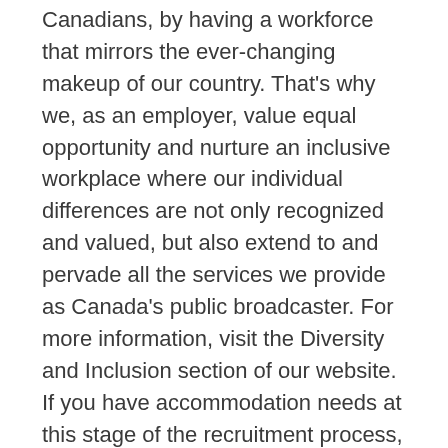Canadians, by having a workforce that mirrors the ever-changing makeup of our country. That's why we, as an employer, value equal opportunity and nurture an inclusive workplace where our individual differences are not only recognized and valued, but also extend to and pervade all the services we provide as Canada's public broadcaster. For more information, visit the Diversity and Inclusion section of our website. If you have accommodation needs at this stage of the recruitment process, please inform us as soon as possible by sending an e-mail to recruitment@cbc.ca.
You are invited to consult and familiarize yourself with our Code of Conduct, which can be found on our corporate website. All employees must adhere to the Code as a condition of employment. We also invite you